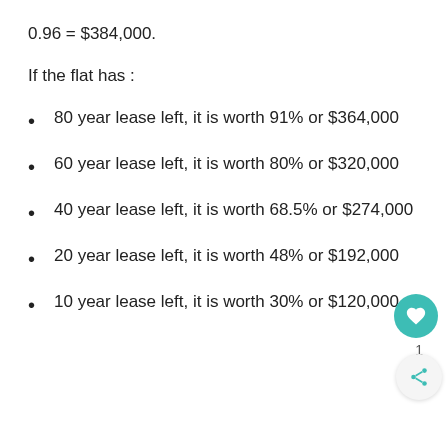0.96 = $384,000.
If the flat has :
80 year lease left, it is worth 91% or $364,000
60 year lease left, it is worth 80% or $320,000
40 year lease left, it is worth 68.5% or $274,000
20 year lease left, it is worth 48% or $192,000
10 year lease left, it is worth 30% or $120,000